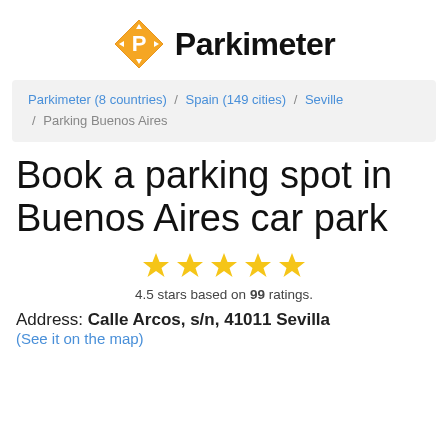[Figure (logo): Parkimeter logo: orange diamond shape with white P and arrows, followed by bold text 'Parkimeter']
Parkimeter (8 countries) / Spain (149 cities) / Seville / Parking Buenos Aires
Book a parking spot in Buenos Aires car park
[Figure (other): 5 gold stars rating display]
4.5 stars based on 99 ratings.
Address: Calle Arcos, s/n, 41011 Sevilla